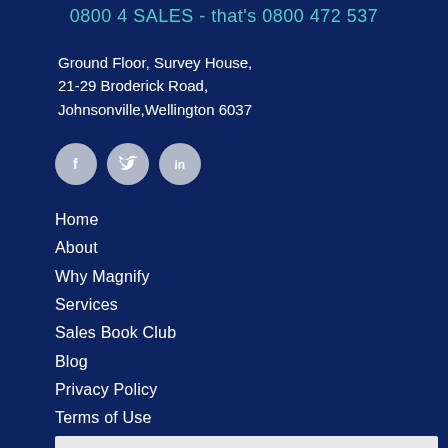0800 4 SALES - that's 0800 472 537
Ground Floor, Survey House,
21-29 Broderick Road,
Johnsonville,Wellington 6037
[Figure (infographic): Three circular social media icon buttons: Facebook (f), Twitter (bird), LinkedIn (in), all in muted blue-grey color on dark navy background]
Home
About
Why Magnify
Services
Sales Book Club
Blog
Privacy Policy
Terms of Use